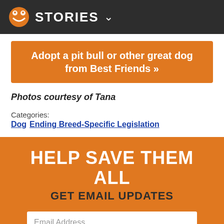STORIES
Adopt a pit bull or other great dog from Best Friends »
Photos courtesy of Tana
Categories: Dog Ending Breed-Specific Legislation
HELP SAVE THEM ALL
GET EMAIL UPDATES
Email Address